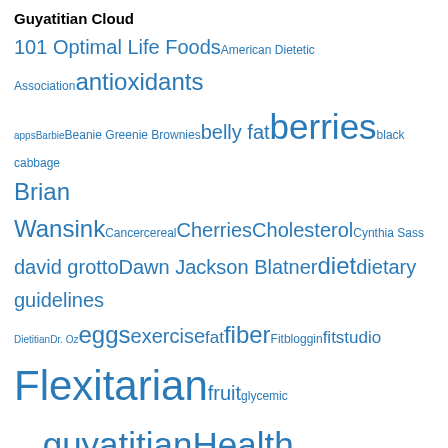Guyatitian Cloud
[Figure (infographic): A word cloud featuring nutrition and dietitian-related terms in varying font sizes and shades of blue. Larger words indicate higher frequency/importance. Terms include: 101 Optimal Life Foods, American Dietetic Association, antioxidants, apps, Barbie, Beanie Greenie Brownies, belly fat, berries, black cabbage, Brian Wansink, Cancer, cereal, Cherries, Cholesterol, Cynthia Sass, david grotto, Dawn Jackson Blatner, diet, dietary guidelines, Dietitian, Dr. Oz, eggs, exercise, fat, fiber, Fitbloggin, fitstudio, Flexitarian, fruit, glycemic index, guyatitian, Health, Healthy, Hungry Girl, IFIC, inflammation, iphone, Ken, Lisa Lillien, memory, men, milk, Mindless Eating, nutrition, nuts, Oats, Obesity, omnivore, pain, Podcast, polyphenols, Potato, potatoes, Protein, purple, Radio, RD, recipes, Registered Dietitian, salmon, shelvis]